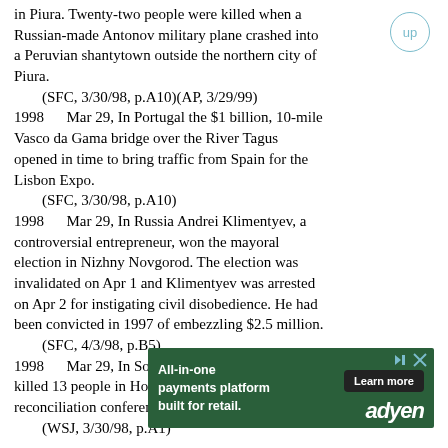in Piura. Twenty-two people were killed when a Russian-made Antonov military plane crashed into a Peruvian shantytown outside the northern city of Piura.
(SFC, 3/30/98, p.A10)(AP, 3/29/99)
1998	Mar 29, In Portugal the $1 billion, 10-mile Vasco da Gama bridge over the River Tagus opened in time to bring traffic from Spain for the Lisbon Expo.
(SFC, 3/30/98, p.A10)
1998	Mar 29, In Russia Andrei Klimentyev, a controversial entrepreneur, won the mayoral election in Nizhny Novgorod. The election was invalidated on Apr 1 and Klimentyev was arrested on Apr 2 for instigating civil disobedience. He had been convicted in 1997 of embezzling $2.5 million.
(SFC, 4/3/98, p.B5)
1998	Mar 29, In Somalia factional fighting killed 13 people in Hobyo, 2 days before a national reconciliation conference.
(WSJ, 3/30/98, p.A1)
[Figure (screenshot): Advertisement banner for Adyen payments platform with green background, showing 'All-in-one payments platform built for retail.' text, a 'Learn more' button, and the Adyen logo.]